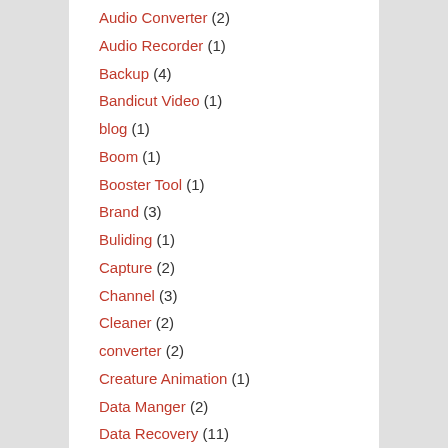Audio Converter (2)
Audio Recorder (1)
Backup (4)
Bandicut Video (1)
blog (1)
Boom (1)
Booster Tool (1)
Brand (3)
Buliding (1)
Capture (2)
Channel (3)
Cleaner (2)
converter (2)
Creature Animation (1)
Data Manger (2)
Data Recovery (11)
Design (3)
Desktop (1)
Desktop Enhancements (1)
DESKTOP ENHANCEMENTS / WINDOWS (1)